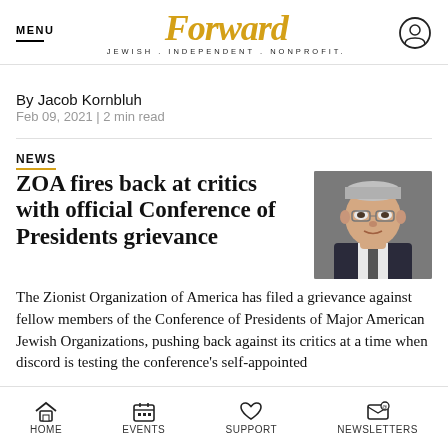MENU | Forward JEWISH . INDEPENDENT . NONPROFIT.
By Jacob Kornbluh
Feb 09, 2021 | 2 min read
NEWS
ZOA fires back at critics with official Conference of Presidents grievance
[Figure (photo): Headshot of an older man with glasses, grey/white hair, wearing a suit, photographed in a formal setting]
The Zionist Organization of America has filed a grievance against fellow members of the Conference of Presidents of Major American Jewish Organizations, pushing back against its critics at a time when discord is testing the conference's self-appointed
HOME | EVENTS | SUPPORT | NEWSLETTERS